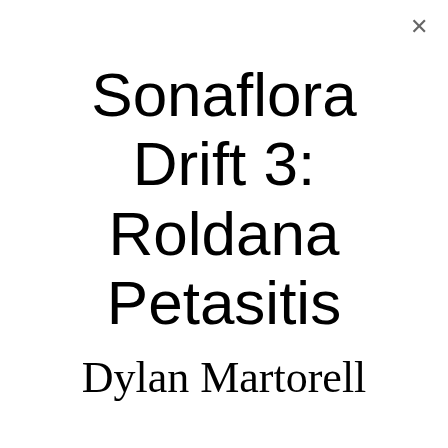Sonaflora Drift 3: Roldana Petasitis
Dylan Martorell